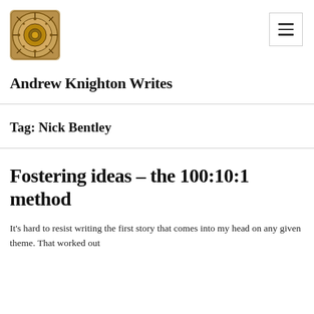[Figure (illustration): Circular ornate mandala/clock-like decorative logo image for Andrew Knighton Writes blog]
Andrew Knighton Writes
Tag: Nick Bentley
Fostering ideas – the 100:10:1 method
It's hard to resist writing the first story that comes into my head on any given theme. That worked out